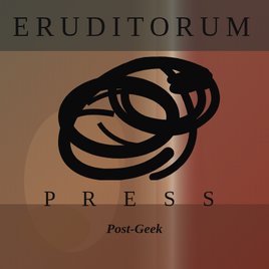[Figure (logo): Eruditorum Press logo cover image with William Blake's 'Newton' painting as background, overlaid with dark gradient (teal top-left, dark red right side), featuring the stylized 'EP' monogram in black in the center, the word ERUDITORUM in spaced serif capitals at top, PRESS in spaced serif capitals below the monogram, and 'Post-Geek' in bold italic below that.]
ERUDITORUM
PRESS
Post-Geek